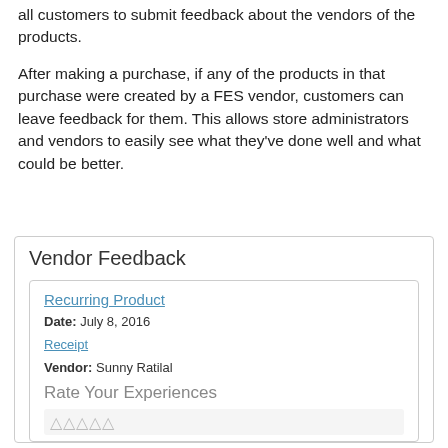all customers to submit feedback about the vendors of the products.
After making a purchase, if any of the products in that purchase were created by a FES vendor, customers can leave feedback for them. This allows store administrators and vendors to easily see what they've done well and what could be better.
Vendor Feedback
Recurring Product
Date: July 8, 2016
Receipt
Vendor: Sunny Ratilal
Rate Your Experiences